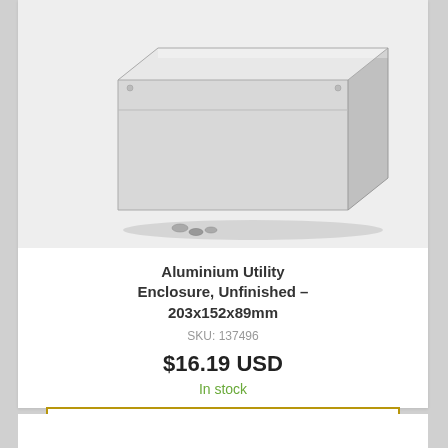[Figure (photo): An aluminium utility enclosure box, unfinished silver/metallic rectangular box with a slide-on lid, with small screws visible in the bottom-left corner of the image.]
Aluminium Utility Enclosure, Unfinished – 203x152x89mm
SKU: 137496
$16.19 USD
In stock
ADD TO CART